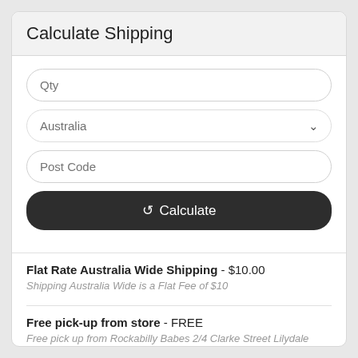Calculate Shipping
Qty
Australia
Post Code
Calculate
Flat Rate Australia Wide Shipping - $10.00
Shipping Australia Wide is a Flat Fee of $10
Free pick-up from store - FREE
Free pick up from Rockabilly Babes 2/4 Clarke Street Lilydale between 11am and 4pm